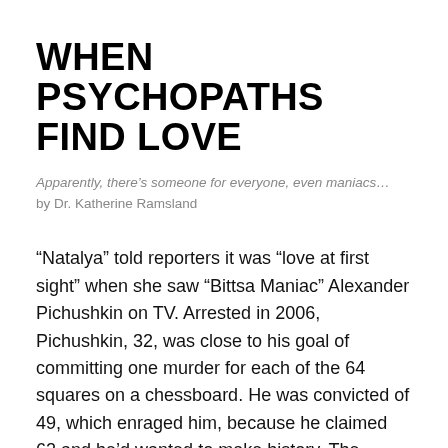WHEN PSYCHOPATHS FIND LOVE
Apparently, there’s someone for everyone, even maniacs…
by Dr. Katherine Ramsland
“Natalya” told reporters it was “love at first sight” when she saw “Bittsa Maniac” Alexander Pichushkin on TV. Arrested in 2006, Pichushkin, 32, was close to his goal of committing one murder for each of the 64 squares on a chessboard. He was convicted of 49, which enraged him, because he claimed 62 and he’d wanted to make history. The courts had spoiled his game.